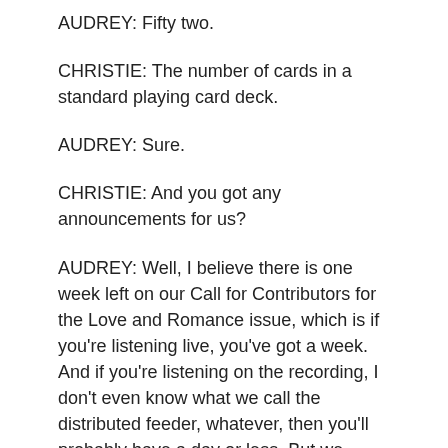AUDREY: Fifty two.
CHRISTIE: The number of cards in a standard playing card deck.
AUDREY: Sure.
CHRISTIE: And you got any announcements for us?
AUDREY: Well, I believe there is one week left on our Call for Contributors for the Love and Romance issue, which is if you're listening live, you've got a week. And if you're listening on the recording, I don't even know what we call the distributed feeder, whatever, then you'll probably have a day or less. But we could always extend it a couple days if we need to. And I am sure that we have a great pool of submissions and we'd love some more.
CHRISTIE: Awesome. The short or the easy to remember